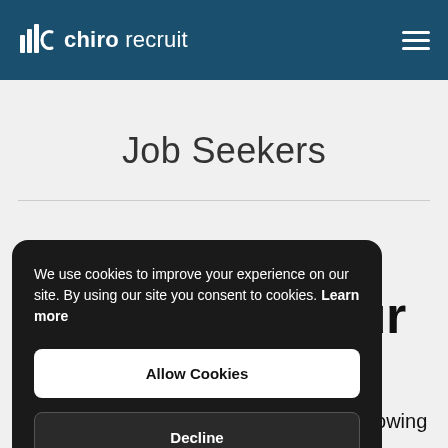chiro recruit
Job Seekers
We use cookies to improve your experience on our site. By using our site you consent to cookies. Learn more
Allow Cookies
Decline
your
ay!
Chiro Recruit is the world's fastest growing chiropractic